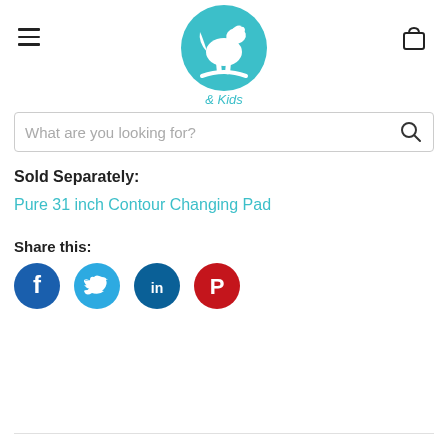[Figure (logo): Hello Baby & Kids logo — teal circle with white rocking horse, teal text 'Hello Baby & Kids']
What are you looking for?
Sold Separately:
Pure 31 inch Contour Changing Pad
Share this:
[Figure (infographic): Four social media share buttons: Facebook (blue), Twitter (light blue), LinkedIn (dark teal), Pinterest (red)]